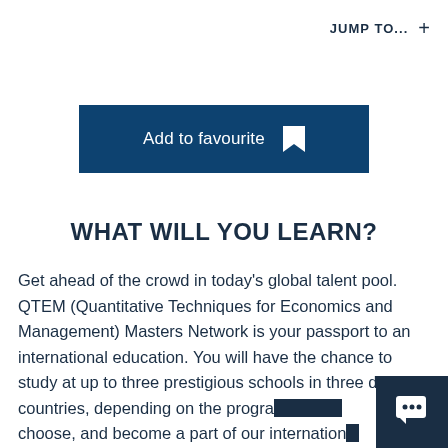JUMP TO... +
Add to favourite
WHAT WILL YOU LEARN?
Get ahead of the crowd in today's global talent pool. QTEM (Quantitative Techniques for Economics and Management) Masters Network is your passport to an international education. You will have the chance to study at up to three prestigious schools in three different countries, depending on the programme you choose, and become a part of our international network with 25 of the best business schools in the